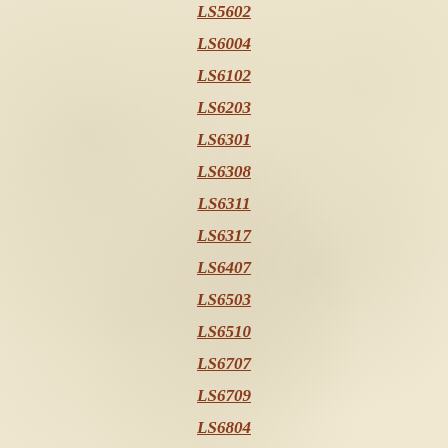LS5602
LS6004
LS6102
LS6203
LS6301
LS6308
LS6311
LS6317
LS6407
LS6503
LS6510
LS6707
LS6709
LS6804